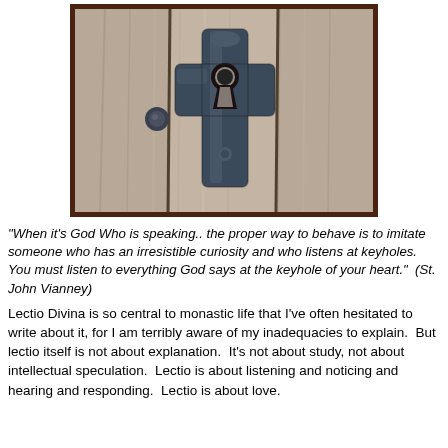[Figure (photo): A close-up photograph of an ornate antique iron keyhole escutcheon on a wooden door, with a cross-shaped decorative metal plate and a keyhole opening, framed by a dark brown border.]
"When it's God Who is speaking.. the proper way to behave is to imitate someone who has an irresistible curiosity and who listens at keyholes.  You must listen to everything God says at the keyhole of your heart."  (St. John Vianney)
Lectio Divina is so central to monastic life that I've often hesitated to write about it, for I am terribly aware of my inadequacies to explain.  But lectio itself is not about explanation.  It's not about study, not about intellectual speculation.  Lectio is about listening and noticing and hearing and responding.  Lectio is about love.